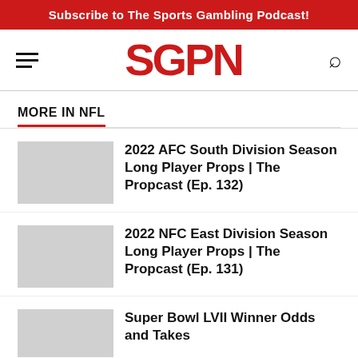Subscribe to The Sports Gambling Podcast!
[Figure (logo): SGPN logo in red bold text with hamburger menu icon on left and search icon on right]
MORE IN NFL
2022 AFC South Division Season Long Player Props | The Propcast (Ep. 132)
2022 NFC East Division Season Long Player Props | The Propcast (Ep. 131)
Super Bowl LVII Winner Odds and Takes